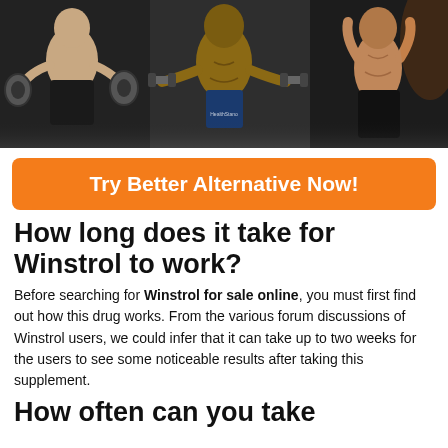[Figure (photo): Three muscular bodybuilders on dark background — left figure in black shorts holding weight plates, center shirtless figure with dumbbells wearing branded shorts, right figure showing muscular torso.]
Try Better Alternative Now!
How long does it take for Winstrol to work?
Before searching for Winstrol for sale online, you must first find out how this drug works. From the various forum discussions of Winstrol users, we could infer that it can take up to two weeks for the users to see some noticeable results after taking this supplement.
How often can you take